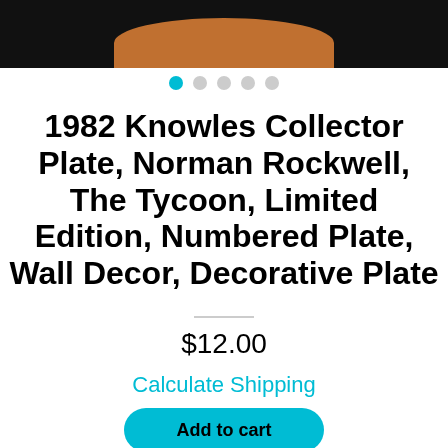[Figure (photo): Partial view of a decorative collector plate shown against a black background, showing the curved top edge of a brown/amber colored plate]
1982 Knowles Collector Plate, Norman Rockwell, The Tycoon, Limited Edition, Numbered Plate, Wall Decor, Decorative Plate
$12.00
Calculate Shipping
Add to cart